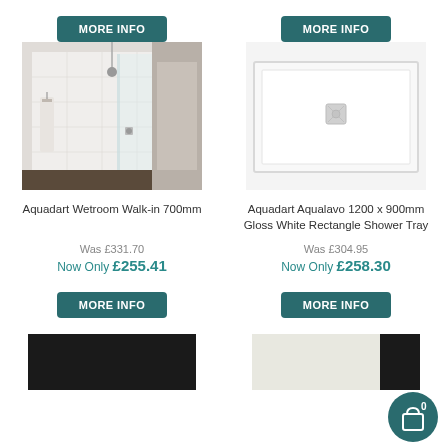[Figure (other): MORE INFO button top left - teal rounded rectangle]
[Figure (other): MORE INFO button top right - teal rounded rectangle]
[Figure (photo): Aquadart Wetroom Walk-in 700mm shower enclosure photo]
[Figure (photo): Aquadart Aqualavo 1200 x 900mm Gloss White Rectangle Shower Tray photo]
Aquadart Wetroom Walk-in 700mm
Aquadart Aqualavo 1200 x 900mm Gloss White Rectangle Shower Tray
Was £331.70
Now Only £255.41
Was £304.95
Now Only £258.30
[Figure (other): MORE INFO button bottom left - teal rounded rectangle]
[Figure (other): MORE INFO button bottom right - teal rounded rectangle]
[Figure (other): Shopping cart icon with badge showing 0, bottom right corner]